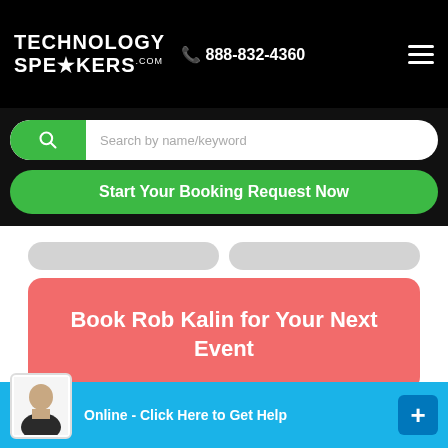TECHNOLOGY SPEAKERS.com  888-832-4360
[Figure (screenshot): Search bar with green search button and placeholder text 'Search by name/keyword']
[Figure (screenshot): Green button: 'Start Your Booking Request Now']
[Figure (screenshot): Red/coral button: 'Book Rob Kalin for Your Next Event']
ABOUT   VIDEO   VIRTUAL MEETINGS
Rob Kalin Biogr...
[Figure (screenshot): Live chat widget: 'Online - Click Here to Get Help' with avatar and plus button]